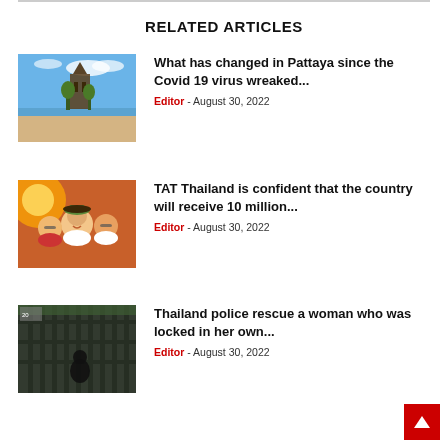RELATED ARTICLES
[Figure (photo): Coastal temple scene in Pattaya with blue sky]
What has changed in Pattaya since the Covid 19 virus wreaked...
Editor - August 30, 2022
[Figure (photo): Group of happy tourists taking selfie with sunlight flare]
TAT Thailand is confident that the country will receive 10 million...
Editor - August 30, 2022
[Figure (photo): Dark iron gate entrance with person in background]
Thailand police rescue a woman who was locked in her own...
Editor - August 30, 2022